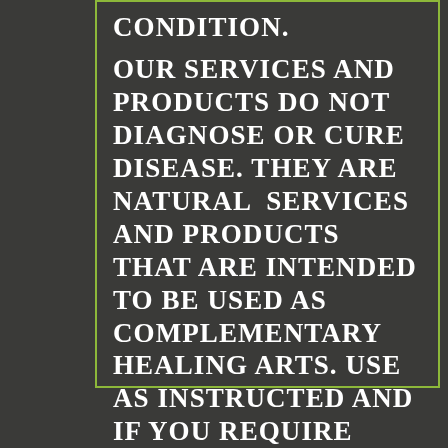CONDITION. OUR SERVICES AND PRODUCTS DO NOT DIAGNOSE OR CURE DISEASE. THEY ARE NATURAL SERVICES AND PRODUCTS THAT ARE INTENDED TO BE USED AS COMPLEMENTARY HEALING ARTS. USE AS INSTRUCTED AND IF YOU REQUIRE MEDICAL ADVICE, DIAGNOSIS, OR TREATMENT, SEE A DOCTOR.